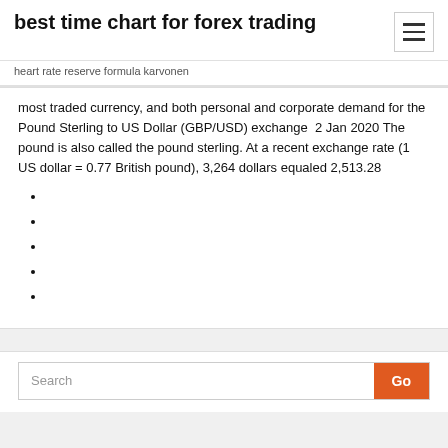best time chart for forex trading
heart rate reserve formula karvonen
most traded currency, and both personal and corporate demand for the Pound Sterling to US Dollar (GBP/USD) exchange  2 Jan 2020 The pound is also called the pound sterling. At a recent exchange rate (1 US dollar = 0.77 British pound), 3,264 dollars equaled 2,513.28
Search